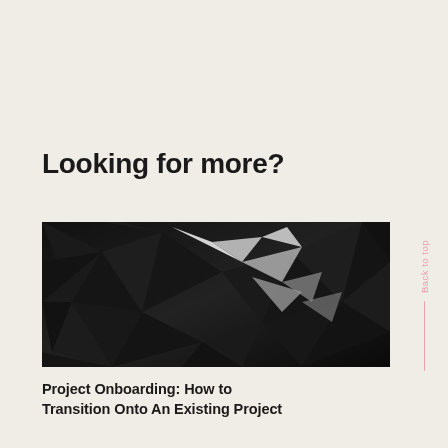Looking for more?
[Figure (photo): Dark abstract low-poly geometric background image in black and white tones with angular shapes and reflective highlights]
Project Onboarding: How to Transition Onto An Existing Project